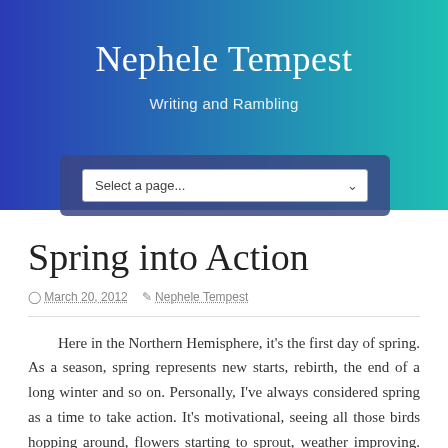Nephele Tempest
Writing and Rambling
Select a page...
Spring into Action
March 20, 2012  Nephele Tempest
Here in the Northern Hemisphere, it's the first day of spring. As a season, spring represents new starts, rebirth, the end of a long winter and so on. Personally, I've always considered spring as a time to take action. It's motivational, seeing all those birds hopping around, flowers starting to sprout, weather improving. Thoughts turn to